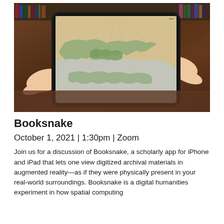[Figure (photo): Hands holding an iPad displaying a digitized historical map of a coastline/waterway on a wooden table background.]
Booksnake
October 1, 2021 | 1:30pm | Zoom
Join us for a discussion of Booksnake, a scholarly app for iPhone and iPad that lets one view digitized archival materials in augmented reality—as if they were physically present in your real-world surroundings. Booksnake is a digital humanities experiment in how spatial computing